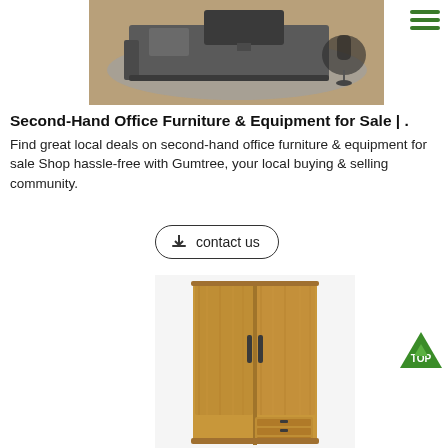[Figure (photo): Photo of a modern office desk set with grey finish, including a large executive desk and computer chair on a grey area rug with wood flooring]
[Figure (logo): Hamburger menu icon with three green horizontal lines in top right corner]
Second-Hand Office Furniture & Equipment for Sale | .
Find great local deals on second-hand office furniture & equipment for sale Shop hassle-free with Gumtree, your local buying & selling community.
[Figure (other): Contact us button with download icon and rounded rectangle border]
[Figure (photo): Photo of a wooden wardrobe/storage cabinet with two doors and drawers in walnut/brown wood grain finish]
[Figure (other): Green triangle TOP badge in bottom right area]